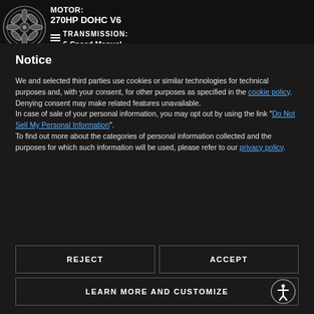270HP DOHC V6
TRANSMISSION:
6-Speed Manual
Notice
We and selected third parties use cookies or similar technologies for technical purposes and, with your consent, for other purposes as specified in the cookie policy. Denying consent may make related features unavailable.
In case of sale of your personal information, you may opt out by using the link "Do Not Sell My Personal Information".
To find out more about the categories of personal information collected and the purposes for which such information will be used, please refer to our privacy policy.
REJECT
ACCEPT
LEARN MORE AND CUSTOMIZE